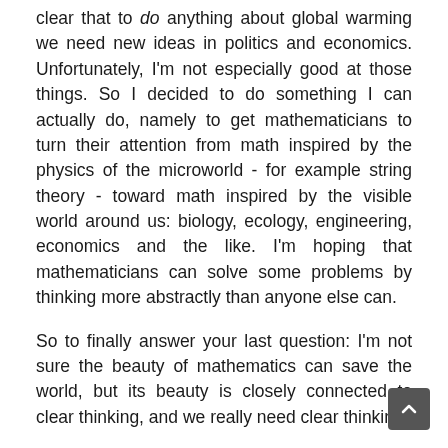clear that to do anything about global warming we need new ideas in politics and economics. Unfortunately, I'm not especially good at those things. So I decided to do something I can actually do, namely to get mathematicians to turn their attention from math inspired by the physics of the microworld - for example string theory - toward math inspired by the visible world around us: biology, ecology, engineering, economics and the like. I'm hoping that mathematicians can solve some problems by thinking more abstractly than anyone else can.
So to finally answer your last question: I'm not sure the beauty of mathematics can save the world, but its beauty is closely connected to clear thinking, and we really need clear thinking.
MM: Yes, in a certain sense, despite culture, technology, and thousands of years of human history, people are quite primitive when it comes to evaluating beauty as